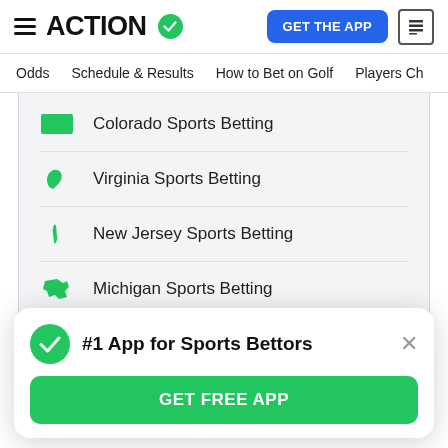ACTION (logo with checkmark) | GET THE APP
Odds | Schedule & Results | How to Bet on Golf | Players Ch
Colorado Sports Betting
Virginia Sports Betting
New Jersey Sports Betting
Michigan Sports Betting
Arizona Sports Betting
#1 App for Sports Bettors
GET FREE APP